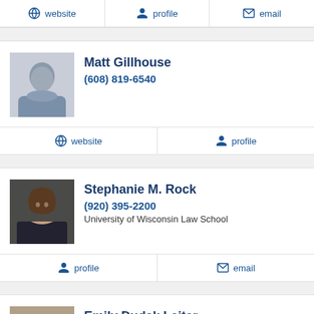website | profile | email
Matt Gillhouse
(608) 819-6540
website | profile
Stephanie M. Rock
(920) 395-2200
University of Wisconsin Law School
profile | email
Emily Dudak Leiter